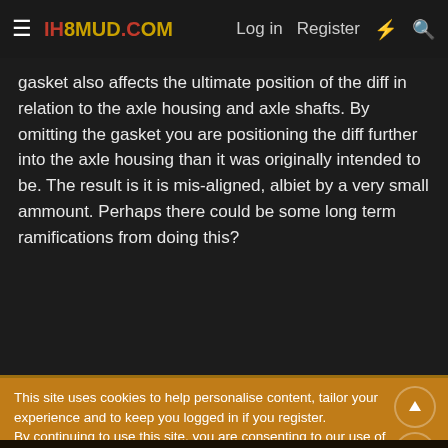IH8MUD.COM | Log in | Register
gasket also affects the ultimate position of the diff in relation to the axle housing and axle shafts. By omitting the gasket you are positioning the diff further into the axle housing than it was originally intended to be. The result is it is mis-aligned, albiet by a very small ammount. Perhaps there could be some long term ramifications from doing this?
This site uses cookies to help personalise content, tailor your experience and to keep you logged in if you register.
By continuing to use this site, you are consenting to our use of cookies.